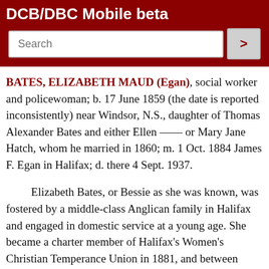DCB/DBC Mobile beta
BATES, ELIZABETH MAUD (Egan), social worker and policewoman; b. 17 June 1859 (the date is reported inconsistently) near Windsor, N.S., daughter of Thomas Alexander Bates and either Ellen —— or Mary Jane Hatch, whom he married in 1860; m. 1 Oct. 1884 James F. Egan in Halifax; d. there 4 Sept. 1937.
Elizabeth Bates, or Bessie as she was known, was fostered by a middle-class Anglican family in Halifax and engaged in domestic service at a young age. She became a charter member of Halifax's Women's Christian Temperance Union in 1881, and between 1892 and 1901, after her marriage to James Egan, she was employed as matron of its shelter and adjoining meeting- and coffee-rooms. During the 1890s Egan also undertook youth, missionary, and temperance work through St Paul's Church and conducted district